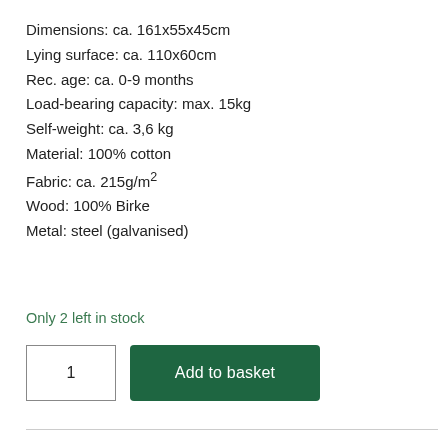Dimensions: ca. 161x55x45cm
Lying surface: ca. 110x60cm
Rec. age: ca. 0-9 months
Load-bearing capacity: max. 15kg
Self-weight: ca. 3,6 kg
Material: 100% cotton
Fabric: ca. 215g/m²
Wood: 100% Birke
Metal: steel (galvanised)
Only 2 left in stock
1
Add to basket